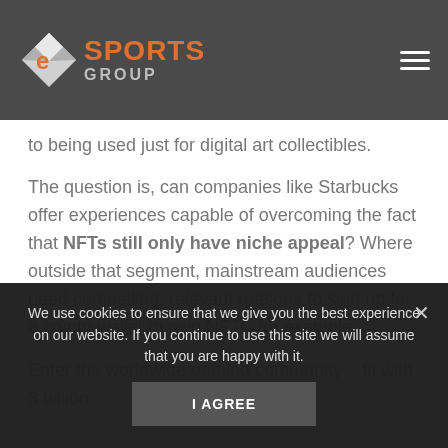eSports Group
to being used just for digital art collectibles.
The question is, can companies like Starbucks offer experiences capable of overcoming the fact that NFTs still only have niche appeal? Where outside that segment, mainstream audiences need compelling, relevant reasons to sign up for a crypto wallet to own NFTs, for example.
Enter the worldwide gaming community – fit with 3 billion
We use cookies to ensure that we give you the best experience on our website. If you continue to use this site we will assume that you are happy with it.
I AGREE